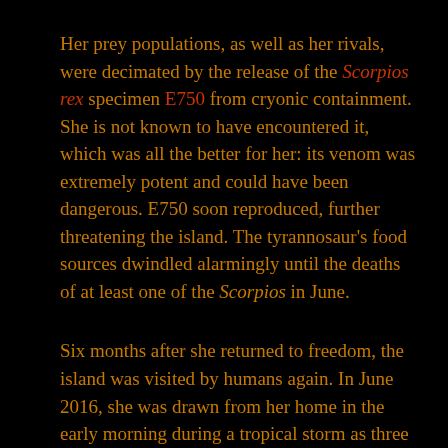Her prey populations, as well as her rivals, were decimated by the release of the Scorpios rex specimen E750 from cryonic containment. She is not known to have encountered it, which was all the better for her: its venom was extremely potent and could have been dangerous. E750 soon reproduced, further threatening the island. The tyrannosaur's food sources dwindled alarmingly until the deaths of at least one of the Scorpios in June.

Six months after she returned to freedom, the island was visited by humans again. In June 2016, she was drawn from her home in the early morning during a tropical storm as three helicopters passed over the island, with one landing at a private dock in Sector 2. These carried Dr. Henry Wu and a team of mercenaries hired by Wu's